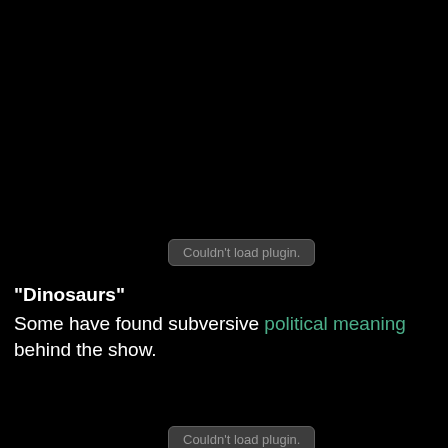[Figure (screenshot): Black background with a browser 'Couldn't load plugin.' error box near the top center of the page.]
"Dinosaurs"
Some have found subversive political meaning behind the show.
[Figure (screenshot): Another 'Couldn't load plugin.' error box partially visible at the bottom of the page.]